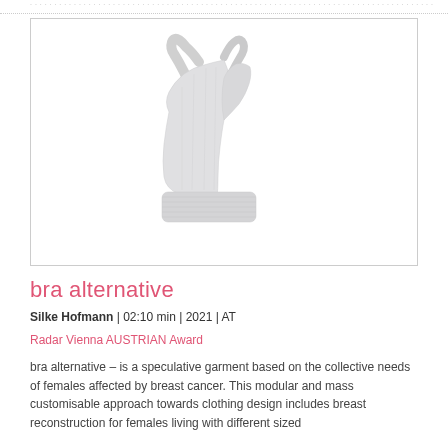[Figure (photo): A white/light grey seamless sports bra / crop top garment photographed against a white background, shown on an invisible mannequin. The garment has a racerback style with ribbed bottom band.]
bra alternative
Silke Hofmann | 02:10 min | 2021 | AT
Radar Vienna AUSTRIAN Award
bra alternative – is a speculative garment based on the collective needs of females affected by breast cancer. This modular and mass customisable approach towards clothing design includes breast reconstruction for females living with different sized